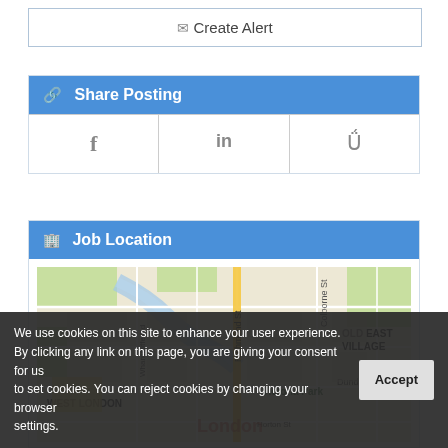✉ Create Alert
⚙ Share Posting
[Figure (other): Social sharing buttons: Facebook (f), LinkedIn (in), Twitter (bird icon)]
🏢 Job Location
[Figure (map): Map showing London, Ontario area including West London, Victoria Park, Old East Village, Richmond St, Colborne St, Wharnclife Rd, Dundas St, Horton St]
We use cookies on this site to enhance your user experience. By clicking any link on this page, you are giving your consent for us to set cookies. You can reject cookies by changing your browser settings.